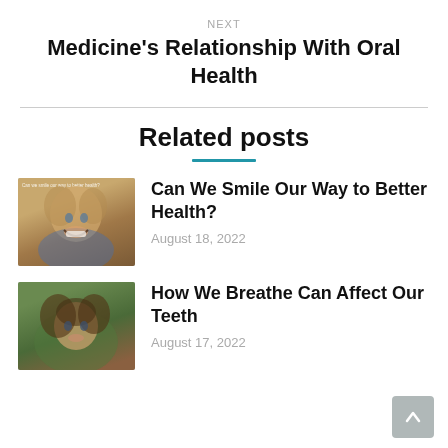NEXT
Medicine’s Relationship With Oral Health
Related posts
[Figure (photo): Smiling young child with text overlay 'Can we smile our way to better health?']
Can We Smile Our Way to Better Health?
August 18, 2022
[Figure (photo): Young child with curly hair looking at camera]
How We Breathe Can Affect Our Teeth
August 17, 2022